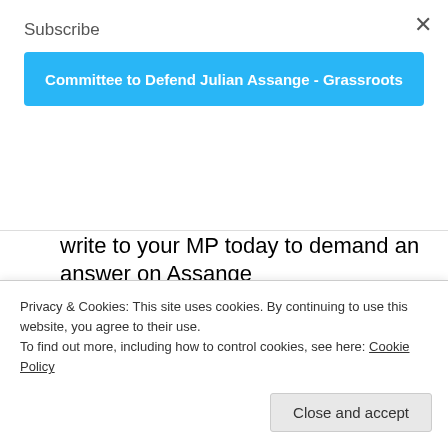Subscribe
×
Committee to Defend Julian Assange - Grassroots
Defend Assange Campaign @DefendAssange · Follow
In the UK? Use our template letter to write to your MP today to demand an answer on Assange defend.wikileaks.org/2019/01/11/wri...
LETTER
Privacy & Cookies: This site uses cookies. By continuing to use this website, you agree to their use.
To find out more, including how to control cookies, see here: Cookie Policy
Close and accept